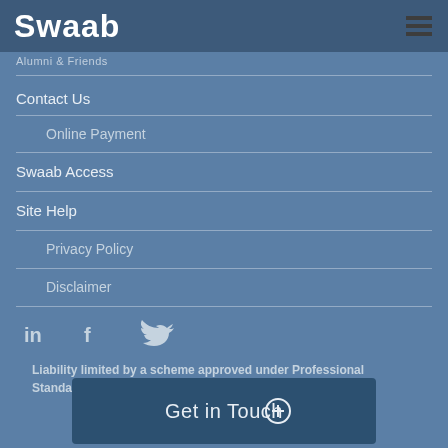Swaab
Alumni & Friends
Contact Us
Online Payment
Swaab Access
Site Help
Privacy Policy
Disclaimer
[Figure (other): Social media icons: LinkedIn, Facebook, Twitter]
Liability limited by a scheme approved under Professional Standards Legislation.
Get in Touch